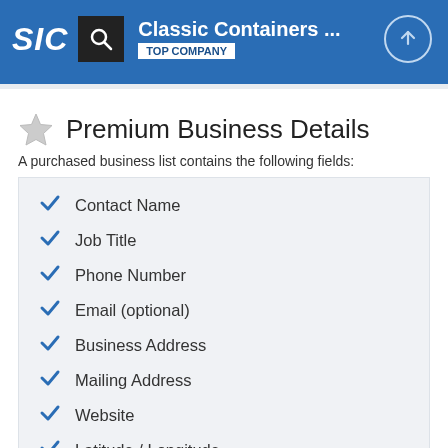SIC | Classic Containers ... | TOP COMPANY
Premium Business Details
A purchased business list contains the following fields:
Contact Name
Job Title
Phone Number
Email (optional)
Business Address
Mailing Address
Website
Latitude / Longitude
Modeled Credit Rating